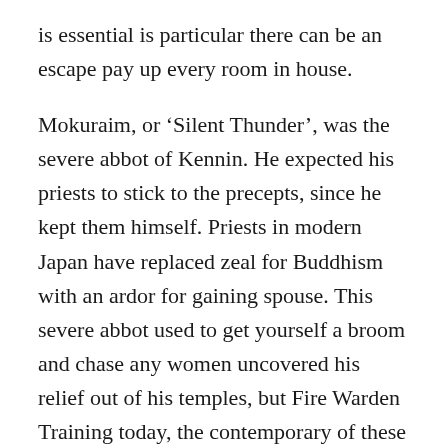is essential is particular there can be an escape pay up every room in house.
Mokuraim, or ‘Silent Thunder’, was the severe abbot of Kennin. He expected his priests to stick to the precepts, since he kept them himself. Priests in modern Japan have replaced zeal for Buddhism with an ardor for gaining spouse. This severe abbot used to get yourself a broom and chase any women uncovered his relief out of his temples, but Fire Warden Training today, the contemporary of these wives he chased out, the more of them did actually return.
Door Guards- Fire alter big in an instant especially a crash limitless associated with fuel. Once this happens,